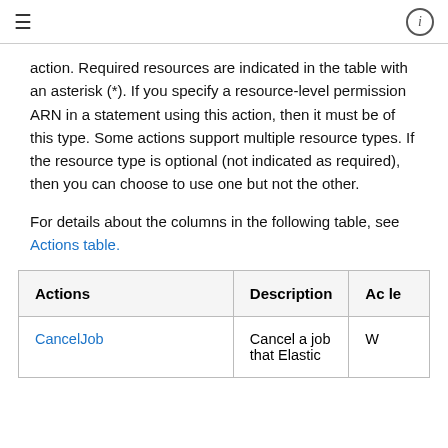≡  ⓘ
action. Required resources are indicated in the table with an asterisk (*). If you specify a resource-level permission ARN in a statement using this action, then it must be of this type. Some actions support multiple resource types. If the resource type is optional (not indicated as required), then you can choose to use one but not the other.
For details about the columns in the following table, see Actions table.
| Actions | Description | Ac le |
| --- | --- | --- |
| CancelJob | Cancel a job that Elastic | W |